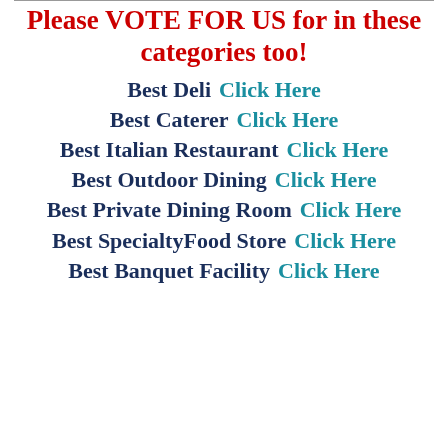Please VOTE FOR US for in these categories too!
Best Deli  Click Here
Best Caterer  Click Here
Best Italian Restaurant  Click Here
Best Outdoor Dining  Click Here
Best Private Dining Room  Click Here
Best SpecialtyFood Store  Click Here
Best Banquet Facility  Click Here